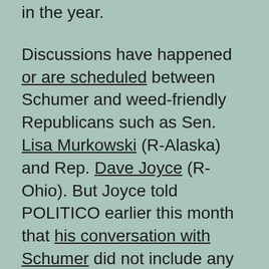in the year.
Discussions have happened or are scheduled between Schumer and weed-friendly Republicans such as Sen. Lisa Murkowski (R-Alaska) and Rep. Dave Joyce (R-Ohio). But Joyce told POLITICO earlier this month that his conversation with Schumer did not include any formal strategy or legislative plans. Right now, most of these talks are among Senate Democrats, who eventually want to agree on something they can propose to Republicans.
Some hope that a deal on cannabis — an issue that enjoys support from both sides of